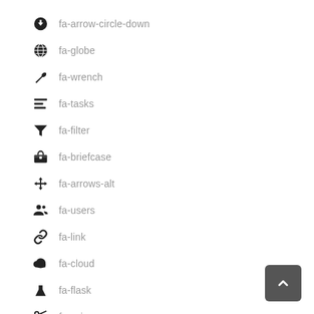fa-arrow-circle-down
fa-globe
fa-wrench
fa-tasks
fa-filter
fa-briefcase
fa-arrows-alt
fa-users
fa-link
fa-cloud
fa-flask
fa-scissors
fa-files-o